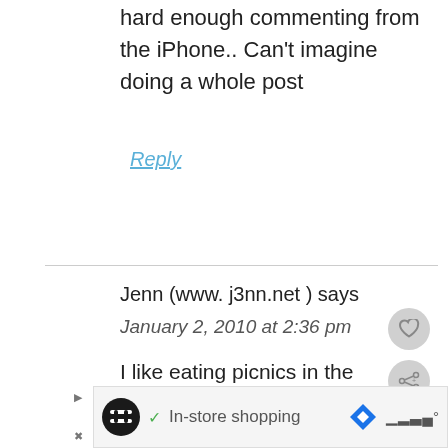hard enough commenting from the iPhone.. Can't imagine doing a whole post
Reply
Jenn (www. j3nn.net ) says
January 2, 2010 at 2:36 pm
I like eating picnics in the car, too. Feels adventurous. hehe

Jenn
[Figure (infographic): Advertisement bar at the bottom with a circular black icon, checkmark, 'In-store shopping' text, a blue diamond navigation icon, and signal bars icon]